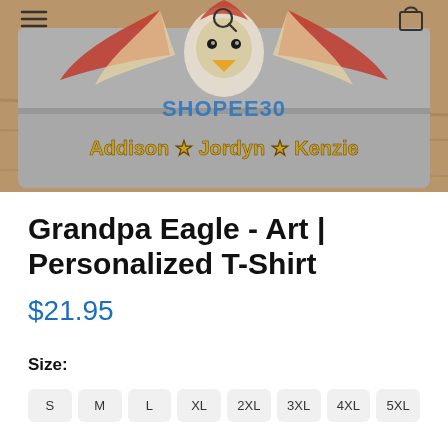[Figure (photo): A folded gray t-shirt with an eagle art design and the text 'Addison ★ Jordyn ★ Kenzie' printed on it. The shirt is placed on a wooden surface. A website navigation bar is overlaid on top with hamburger menu icon, search icon, and shopping bag icon. A 'SHOPEE30' watermark is visible.]
Grandpa Eagle - Art | Personalized T-Shirt
$21.95
Size:
S
M
L
XL
2XL
3XL
4XL
5XL